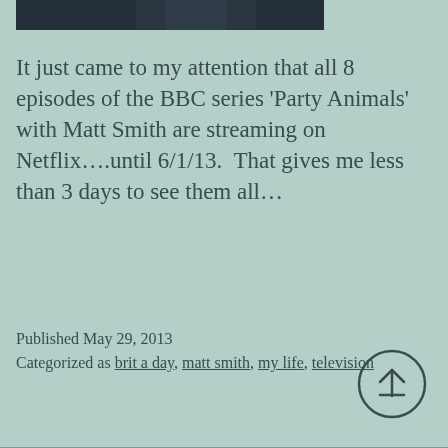[Figure (photo): Partial bottom edge of a photograph showing people in dark clothing against a dark background]
It just came to my attention that all 8 episodes of the BBC series 'Party Animals' with Matt Smith are streaming on Netflix….until 6/1/13.  That gives me less than 3 days to see them all…
Published May 29, 2013
Categorized as brit a day, matt smith, my life, television